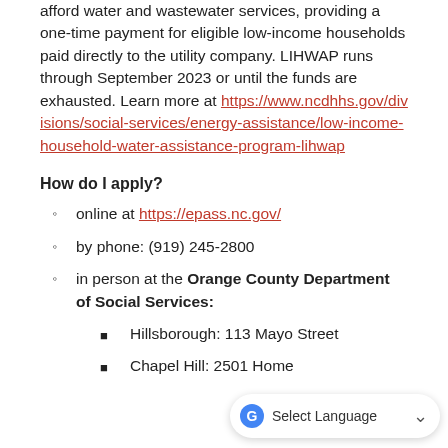afford water and wastewater services, providing a one-time payment for eligible low-income households paid directly to the utility company. LIHWAP runs through September 2023 or until the funds are exhausted. Learn more at https://www.ncdhhs.gov/divisions/social-services/energy-assistance/low-income-household-water-assistance-program-lihwap
How do I apply?
online at https://epass.nc.gov/
by phone: (919) 245-2800
in person at the Orange County Department of Social Services:
Hillsborough: 113 Mayo Street
Chapel Hill:  2501 Home...